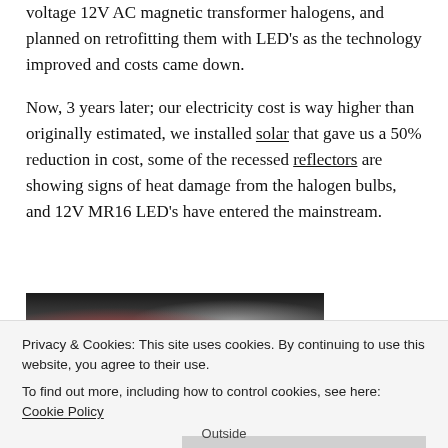Given the situation we opted for recessed Lito MR16 low voltage 12V AC magnetic transformer halogens, and planned on retrofitting them with LED's as the technology improved and costs came down.
Now, 3 years later; our electricity cost is way higher than originally estimated, we installed solar that gave us a 50% reduction in cost, some of the recessed reflectors are showing signs of heat damage from the halogen bulbs, and 12V MR16 LED's have entered the mainstream.
[Figure (photo): Photograph of recessed lighting fixtures, partially visible, dark background with some reflective surfaces visible]
Privacy & Cookies: This site uses cookies. By continuing to use this website, you agree to their use.
To find out more, including how to control cookies, see here: Cookie Policy
Close and accept
Outside